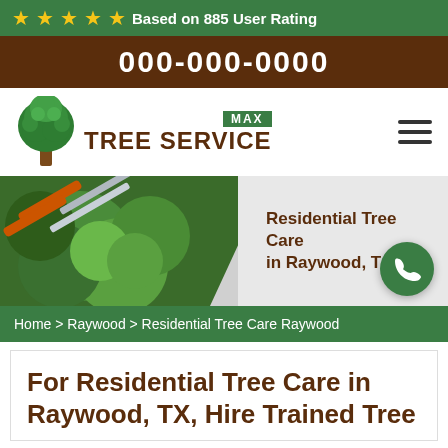★★★★★ Based on 885 User Rating
000-000-0000
[Figure (logo): Max Tree Service logo with green tree icon and brown text]
[Figure (photo): Hero banner showing hedge trimming shears on green bush with text 'Residential Tree Care in Raywood, TX' and a green phone button]
Home > Raywood > Residential Tree Care Raywood
For Residential Tree Care in Raywood, TX, Hire Trained Tree